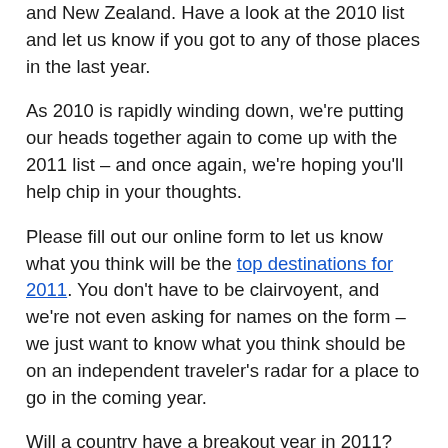and New Zealand. Have a look at the 2010 list and let us know if you got to any of those places in the last year.
As 2010 is rapidly winding down, we’re putting our heads together again to come up with the 2011 list – and once again, we’re hoping you’ll help chip in your thoughts.
Please fill out our online form to let us know what you think will be the top destinations for 2011. You don’t have to be clairvoyent, and we’re not even asking for names on the form – we just want to know what you think should be on an independent traveler’s radar for a place to go in the coming year.
Will a country have a breakout year in 2011? Will a place that used to be overrun but has recently fallen out of favor be back on the indie travel hot list? Let us know